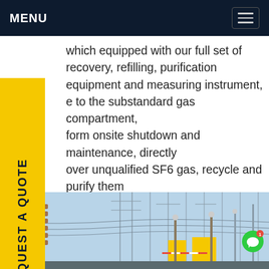MENU
which equipped with our full set of recovery, refilling, purification equipment and measuring instrument, e to the substandard gas compartment, form onsite shutdown and maintenance, directly over unqualified SF6 gas, recycle and purify them be qualified and then return to gas compartment, maintenance cycle is shorter, and users do not e to invest any money in purchasing SF6 gas ndling device, measuring instruments andGet e
[Figure (photo): Electrical substation with high-voltage transmission towers, insulators, and yellow safety signage with barriers in the foreground under a blue sky.]